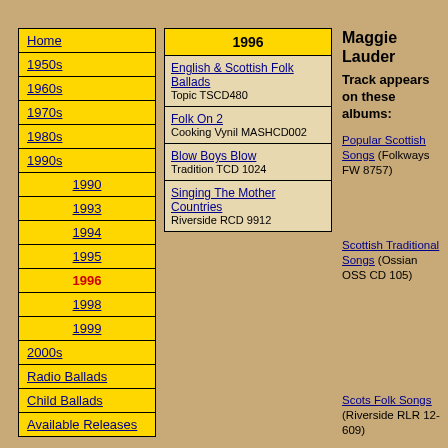Home
1950s
1960s
1970s
1980s
1990s
1990
1993
1994
1995
1996
1998
1999
2000s
Radio Ballads
Child Ballads
Available Releases
1996
| Album | Catalog |
| --- | --- |
| English & Scottish Folk Ballads | Topic TSCD480 |
| Folk On 2 | Cooking Vynil MASHCD002 |
| Blow Boys Blow | Tradition TCD 1024 |
| Singing The Mother Countries | Riverside RCD 9912 |
Maggie Lauder
Track appears on these albums:
Popular Scottish Songs (Folkways FW 8757)
Scottish Traditional Songs (Ossian OSS CD 105)
Scots Folk Songs (Riverside RLR 12-609)